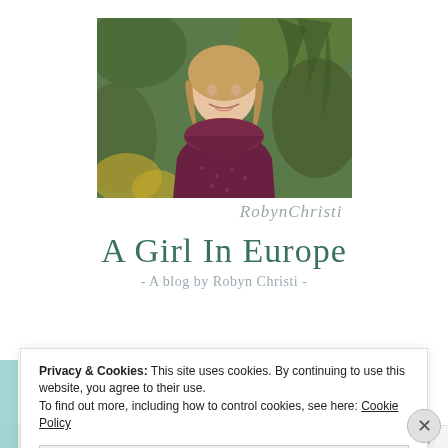[Figure (photo): Portrait photo of a young woman with blonde hair wearing a dark burgundy knit sweater/scarf, standing in front of green foliage and trees. Photo credit: RobynChristi.]
A Girl In Europe
- A blog by Robyn Christi -
Privacy & Cookies: This site uses cookies. By continuing to use this website, you agree to their use.
To find out more, including how to control cookies, see here: Cookie Policy
Close and accept